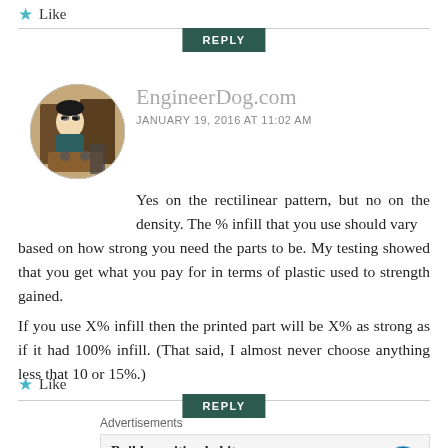★ Like
REPLY
EngineerDog.com
JANUARY 19, 2016 AT 11:02 AM
[Figure (photo): Circular avatar photo of a person working at a desk with machinery]
Yes on the rectilinear pattern, but no on the density. The % infill that you use should vary based on how strong you need the parts to be. My testing showed that you get what you pay for in terms of plastic used to strength gained.
If you use X% infill then the printed part will be X% as strong as if it had 100% infill. (That said, I almost never choose anything less that 10 or 15%.)
★ Like
REPLY
Advertisements
Build a writing habit.
Post on the go.
GET THE APP